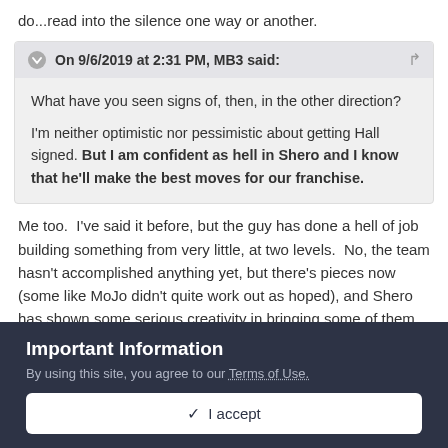do...read into the silence one way or another.
On 9/6/2019 at 2:31 PM, MB3 said:
What have you seen signs of, then, in the other direction?

I'm neither optimistic nor pessimistic about getting Hall signed. But I am confident as hell in Shero and I know that he'll make the best moves for our franchise.
Me too.  I've said it before, but the guy has done a hell of job building something from very little, at two levels.  No, the team hasn't accomplished anything yet, but there's pieces now (some like MoJo didn't quite work out as hoped), and Shero has shown some serious creativity in bringing some of them in...and not
Important Information
By using this site, you agree to our Terms of Use.
✓ I accept